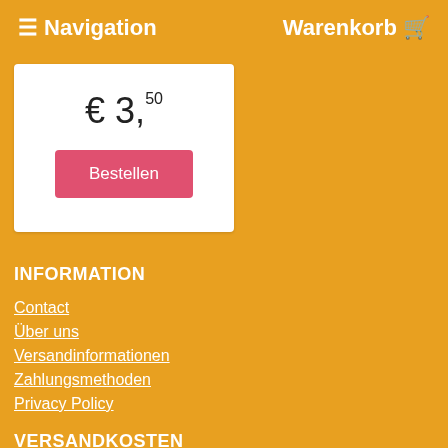≡ Navigation   Warenkorb 🛒
€ 3,50
Bestellen
INFORMATION
Contact
Über uns
Versandinformationen
Zahlungsmethoden
Privacy Policy
VERSANDKOSTEN
Deutschland: